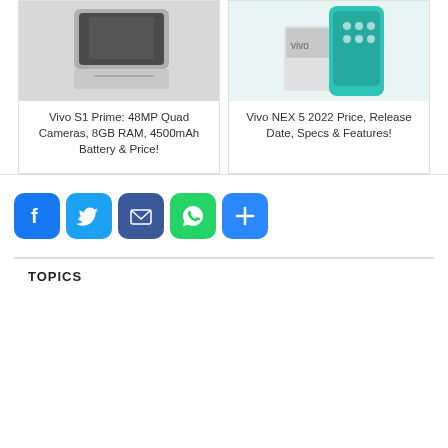[Figure (photo): Vivo S1 Prime phone product image - gray/white device]
Vivo S1 Prime: 48MP Quad Cameras, 8GB RAM, 4500mAh Battery & Price!
[Figure (photo): Vivo NEX 5 2022 phone product image - teal/green device with box]
Vivo NEX 5 2022 Price, Release Date, Specs & Features!
[Figure (infographic): Social media share buttons: Facebook, Twitter, Email, WhatsApp, Share]
TOPICS